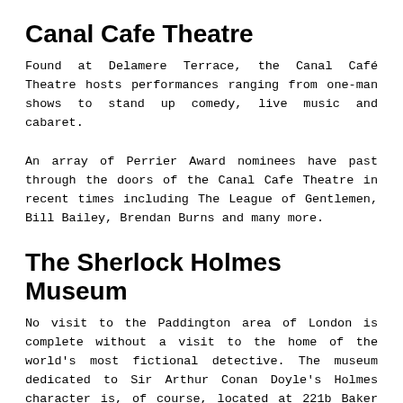Canal Cafe Theatre
Found at Delamere Terrace, the Canal Café Theatre hosts performances ranging from one-man shows to stand up comedy, live music and cabaret.
An array of Perrier Award nominees have past through the doors of the Canal Cafe Theatre in recent times including The League of Gentlemen, Bill Bailey, Brendan Burns and many more.
The Sherlock Holmes Museum
No visit to the Paddington area of London is complete without a visit to the home of the world's most fictional detective. The museum dedicated to Sir Arthur Conan Doyle's Holmes character is, of course, located at 221b Baker Street.